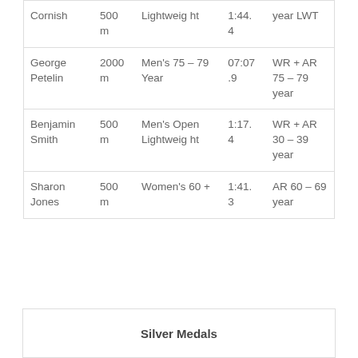| Cornish | 500 m | Lightweight | 1:44.4 | year LWT |
| George Petelin | 2000 m | Men's 75 – 79 Year | 07:07.9 | WR + AR 75 – 79 year |
| Benjamin Smith | 500 m | Men's Open Lightweight | 1:17.4 | WR + AR 30 – 39 year |
| Sharon Jones | 500 m | Women's 60 + | 1:41.3 | AR 60 – 69 year |
Silver Medals